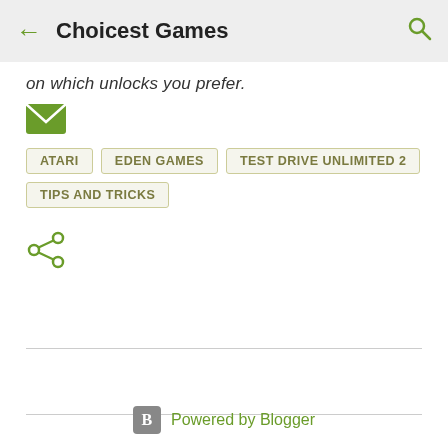Choicest Games
on which unlocks you prefer.
[Figure (other): Email/message icon (green envelope)]
ATARI
EDEN GAMES
TEST DRIVE UNLIMITED 2
TIPS AND TRICKS
[Figure (other): Share icon (green share/network symbol)]
Powered by Blogger